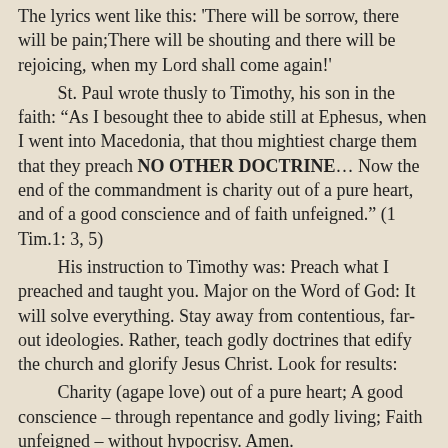The lyrics went like this: 'There will be sorrow, there will be pain;There will be shouting and there will be rejoicing, when my Lord shall come again!'
St. Paul wrote thusly to Timothy, his son in the faith: “As I besought thee to abide still at Ephesus, when I went into Macedonia, that thou mightiest charge them that they preach NO OTHER DOCTRINE… Now the end of the commandment is charity out of a pure heart, and of a good conscience and of faith unfeigned.” (1 Tim.1: 3, 5)
His instruction to Timothy was: Preach what I preached and taught you. Major on the Word of God: It will solve everything. Stay away from contentious, far-out ideologies. Rather, teach godly doctrines that edify the church and glorify Jesus Christ. Look for results:
Charity (agape love) out of a pure heart; A good conscience – through repentance and godly living; Faith unfeigned – without hypocrisy. Amen.
Max Solbrekken at 9:18 PM
Share